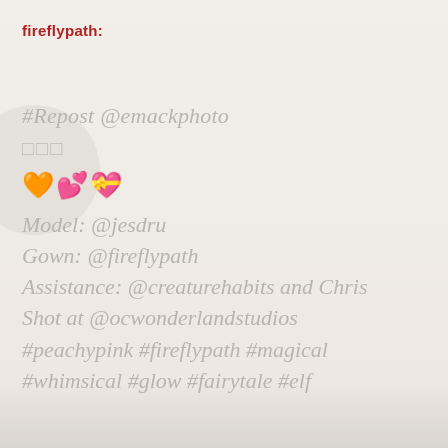fireflypath:
#Repost @emackphoto
□□□
🧡💕💝
Model: @jesdru
Gown: @fireflypath
Assistance: @creaturehabits and Chris
Shot at @ocwonderlandstudios
#peachypink #fireflypath #magical
#whimsical #glow #fairytale #elf